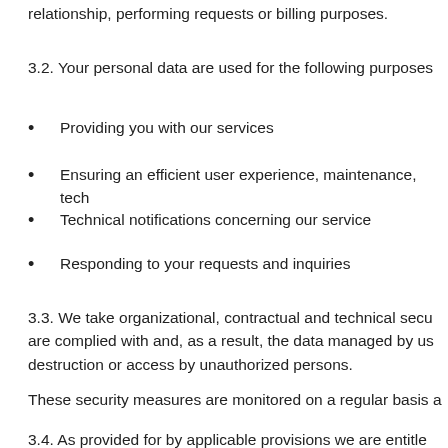relationship, performing requests or billing purposes.
3.2. Your personal data are used for the following purposes
Providing you with our services
Ensuring an efficient user experience, maintenance, tech
Technical notifications concerning our service
Responding to your requests and inquiries
3.3. We take organizational, contractual and technical secu are complied with and, as a result, the data managed by us destruction or access by unauthorized persons.
These security measures are monitored on a regular basis a
3.4. As provided for by applicable provisions we are entitle